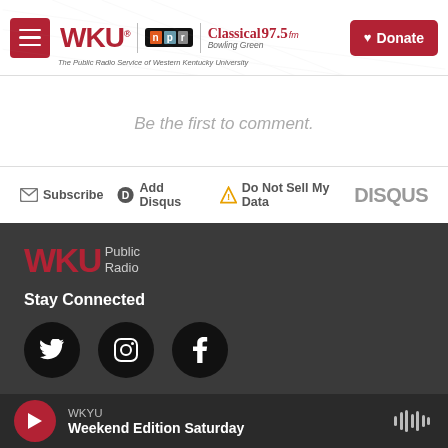[Figure (screenshot): WKU NPR Classical 97.5 FM public radio header with hamburger menu, logos, and Donate button]
Be the first to comment.
Subscribe  Add Disqus  Do Not Sell My Data  DISQUS
[Figure (logo): WKU Public Radio footer logo]
Stay Connected
[Figure (screenshot): Social media icons: Twitter, Instagram, Facebook]
© 2022 WKU Public Radio
WKYU  Weekend Edition Saturday